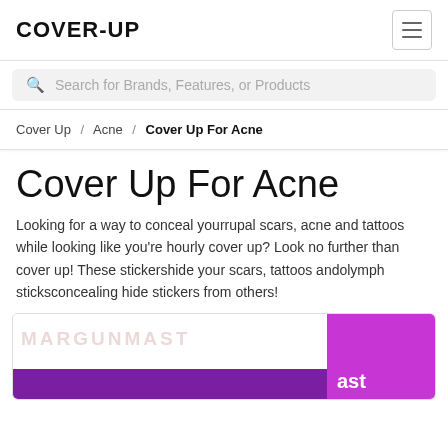COVER-UP
Search for Brands, Features, or Products
Cover Up / Acne / Cover Up For Acne
Cover Up For Acne
Looking for a way to conceal yourrupal scars, acne and tattoos while looking like you're hourly cover up? Look no further than cover up! These stickershide your scars, tattoos andolymph sticksconcealing hide stickers from others!
[Figure (screenshot): Product card showing a purple background with stylized text logo watermark and a purple banner strip at bottom left, with a bright magenta/purple panel on the right showing white text 'ast']